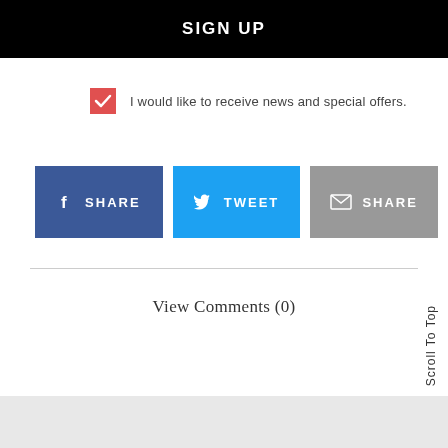SIGN UP
I would like to receive news and special offers.
[Figure (other): Three social share buttons: Facebook SHARE (dark blue), Twitter TWEET (light blue), Email SHARE (gray)]
View Comments (0)
Scroll To Top